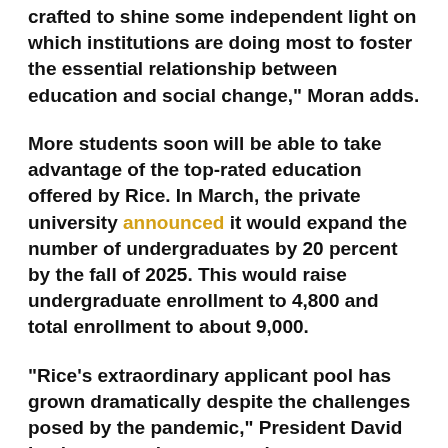crafted to shine some independent light on which institutions are doing most to foster the essential relationship between education and social change," Moran adds.
More students soon will be able to take advantage of the top-rated education offered by Rice. In March, the private university announced it would expand the number of undergraduates by 20 percent by the fall of 2025. This would raise undergraduate enrollment to 4,800 and total enrollment to about 9,000.
"Rice's extraordinary applicant pool has grown dramatically despite the challenges posed by the pandemic," President David Leebron says in a news release.
Rice says the number of student applications has climbed 75 percent over the past four years. In 2020,